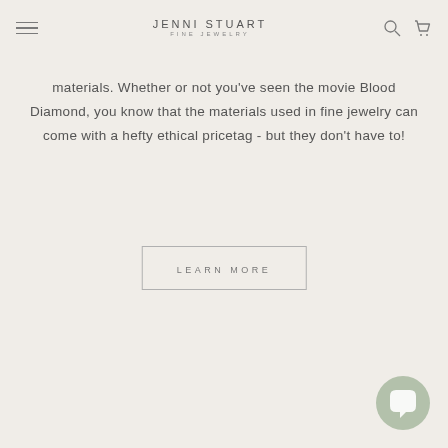JENNI STUART FINE JEWELRY
materials. Whether or not you've seen the movie Blood Diamond, you know that the materials used in fine jewelry can come with a hefty ethical pricetag - but they don't have to!
LEARN MORE